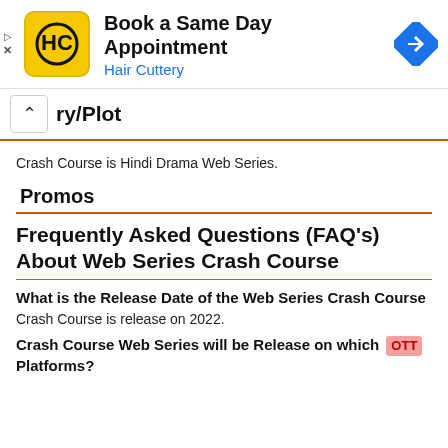[Figure (infographic): Advertisement banner for Hair Cuttery - Book a Same Day Appointment with logo and navigation icon]
ry/Plot
Crash Course is Hindi Drama Web Series.
Promos
Frequently Asked Questions (FAQ's) About Web Series Crash Course
What is the Release Date of the Web Series Crash Course
Crash Course is release on 2022.
Crash Course Web Series will be Release on which OTT Platforms?